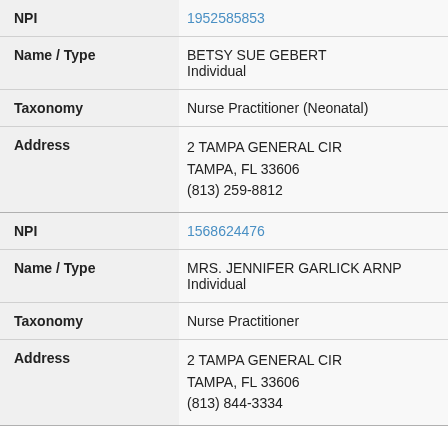| Field | Value |
| --- | --- |
| NPI | 1952585853 |
| Name / Type | BETSY SUE GEBERT
Individual |
| Taxonomy | Nurse Practitioner (Neonatal) |
| Address | 2 TAMPA GENERAL CIR
TAMPA, FL 33606
(813) 259-8812 |
| NPI | 1568624476 |
| Name / Type | MRS. JENNIFER GARLICK ARNP
Individual |
| Taxonomy | Nurse Practitioner |
| Address | 2 TAMPA GENERAL CIR
TAMPA, FL 33606
(813) 844-3334 |